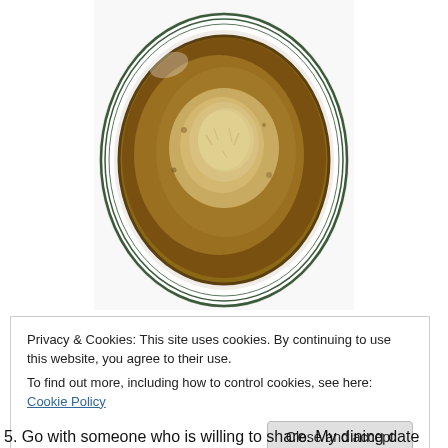[Figure (photo): Overhead photo of a bowl of soup (appears to be French onion or gravy-like soup with grated cheese on top) on a white plate with green rim stripes, viewed from above on a white tablecloth.]
Privacy & Cookies: This site uses cookies. By continuing to use this website, you agree to their use.
To find out more, including how to control cookies, see here: Cookie Policy
Close and accept
5. Go with someone who is willing to share. My dining date